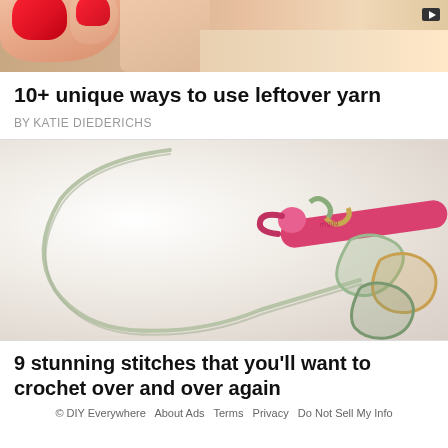[Figure (photo): Close-up photo of a hand with red painted fingernails, partially cropped at top of page]
10+ unique ways to use leftover yarn
BY KATIE DIEDERICHS
[Figure (photo): Close-up photo of a pink/red crochet hook with light green and multicolor yarn chain on white background]
9 stunning stitches that you'll want to crochet over and over again
© DIY Everywhere   About Ads   Terms   Privacy   Do Not Sell My Info